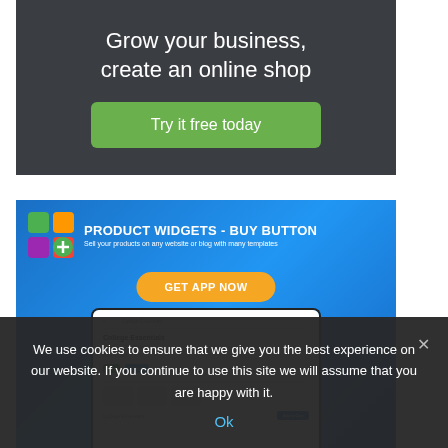[Figure (infographic): Dark-background advertisement banner: 'Grow your business, create an online shop' with a green 'Try it free today' button]
[Figure (infographic): Blue-background advertisement for 'Product Widgets - Buy Button' app with colorful grid icon, subtitle 'Sell your products on any website or blog with many templates', orange 'GET APP NOW' button, and a device mockup showing College Essentials product page]
We use cookies to ensure that we give you the best experience on our website. If you continue to use this site we will assume that you are happy with it.